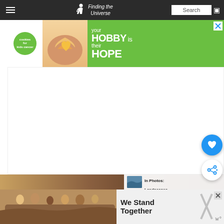Finding the Universe — navigation header with search
[Figure (advertisement): Cookies for Kids Cancer advertisement banner: green background with 'your HOBBY is their HOPE' text and cookies logo]
[Figure (photo): Large white/blank content area below ad banner]
[Figure (photo): Bottom photo strip showing landscape/rocks in warm brown tones, with WHAT'S NEXT callout for 'In Photos: Landscapes ...' article]
[Figure (advertisement): Bottom ad banner: group of people with arms around each other, text 'We Stand Together' on light background, with close button and weatherbug logo]